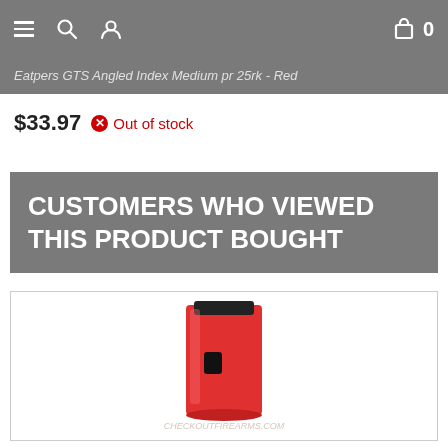Navigation bar with hamburger menu, search icon, user icon, cart icon, and 0 items
Eatpers GTS Angled Index Medium - Red
$33.97  Out of stock
CUSTOMERS WHO VIEWED THIS PRODUCT BOUGHT
[Figure (photo): A red AR-15 style rifle magazine shown upright on a white background]